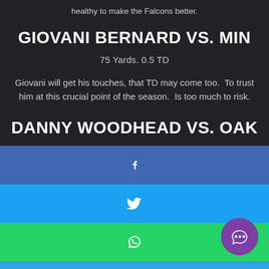healthy to make the Falcons better.
GIOVANI BERNARD VS. MIN
75 Yards. 0.5 TD
Giovani will get his touches, that TD may come too.  To trust him at this crucial point of the season.  Is too much to risk.
DANNY WOODHEAD VS. OAK
[Figure (infographic): Social media share buttons: Facebook (blue), Twitter (light blue), WhatsApp (green), Telegram (sky blue), with a purple chat bubble icon in lower right corner]